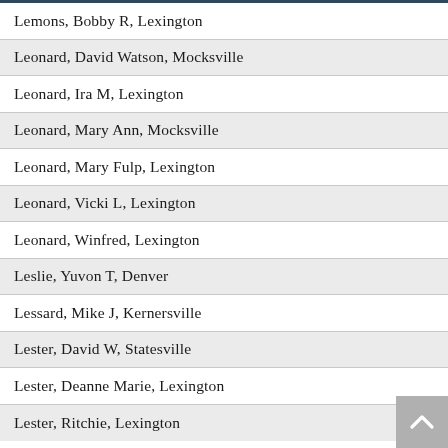Lemons, Bobby R, Lexington
Leonard, David Watson, Mocksville
Leonard, Ira M, Lexington
Leonard, Mary Ann, Mocksville
Leonard, Mary Fulp, Lexington
Leonard, Vicki L, Lexington
Leonard, Winfred, Lexington
Leslie, Yuvon T, Denver
Lessard, Mike J, Kernersville
Lester, David W, Statesville
Lester, Deanne Marie, Lexington
Lester, Ritchie, Lexington